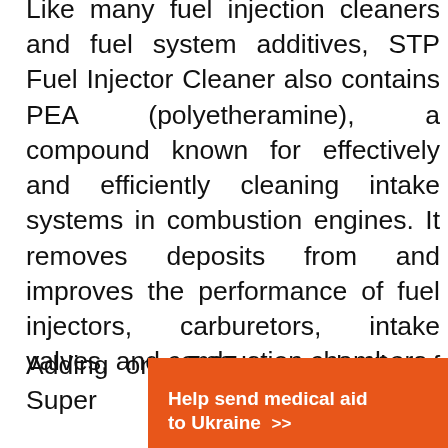Like many fuel injection cleaners and fuel system additives, STP Fuel Injector Cleaner also contains PEA (polyetheramine), a compound known for effectively and efficiently cleaning intake systems in combustion engines. It removes deposits from and improves the performance of fuel injectors, carburetors, intake valves, and combustion chambers.
Adding one 5.25-ounce bottle of Super
[Figure (other): Orange advertisement banner for Direct Relief: 'Help send medical aid to Ukraine >>' with Direct Relief logo (bird icon) on right side]